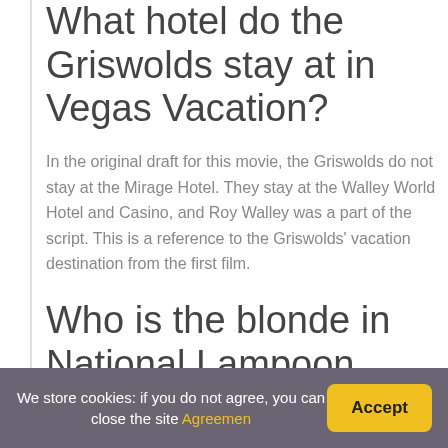What hotel do the Griswolds stay at in Vegas Vacation?
In the original draft for this movie, the Griswolds do not stay at the Mirage Hotel. They stay at the Walley World Hotel and Casino, and Roy Walley was a part of the script. This is a reference to the Griswolds' vacation destination from the first film.
Who is the blonde in National Lampoon Vacation?
We store cookies: if you do not agree, you can close the site Agreemen  Accept